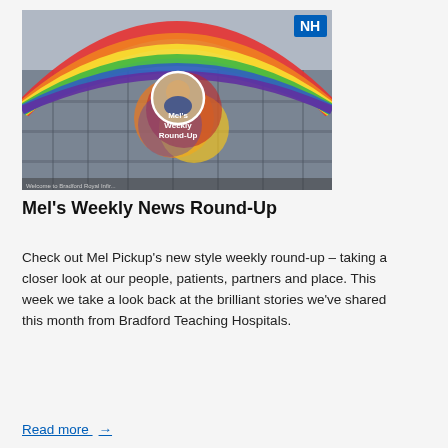[Figure (photo): A building exterior with a large rainbow graphic displayed on a digital screen. In the centre of the rainbow image is a circular photo of a person (Mel) overlaid with colourful (orange, yellow, red) circular shapes and white text reading 'Mel's Weekly Round-Up'. An NHS logo appears in the top-right corner of the image.]
Mel's Weekly News Round-Up
Check out Mel Pickup’s new style weekly round-up – taking a closer look at our people, patients, partners and place. This week we take a look back at the brilliant stories we’ve shared this month from Bradford Teaching Hospitals.
Read more →